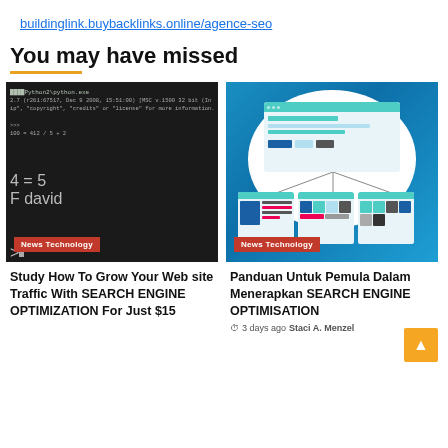buildinglink.buybacklinks.online/agence-seo
You may have missed
[Figure (screenshot): Terminal/command prompt screenshot showing Python code in dark background, with a taskbar at bottom]
News Technology
[Figure (illustration): Website hierarchy illustration on blue background showing browser windows in a tree structure]
News Technology
Study How To Grow Your Web site Traffic With SEARCH ENGINE OPTIMIZATION For Just $15
Panduan Untuk Pemula Dalam Menerapkan SEARCH ENGINE OPTIMISATION
3 days ago  Staci A. Menzel